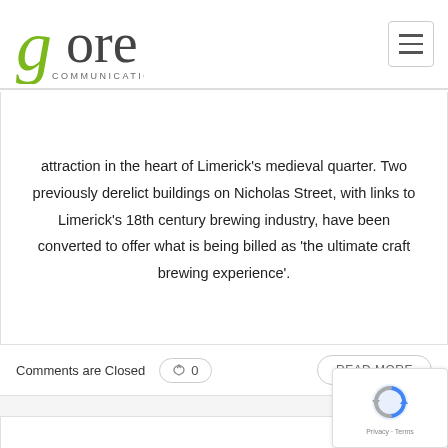[Figure (logo): Gore Communications logo with green stylized 'g' and text 'gore COMMUNICATIONS']
attraction in the heart of Limerick's medieval quarter. Two previously derelict buildings on Nicholas Street, with links to Limerick's 18th century brewing industry, have been converted to offer what is being billed as 'the ultimate craft brewing experience'.
Comments are Closed  0  READ MORE